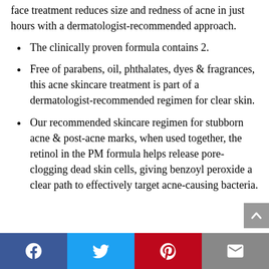face treatment reduces size and redness of acne in just hours with a dermatologist-recommended approach.
The clinically proven formula contains 2.
Free of parabens, oil, phthalates, dyes & fragrances, this acne skincare treatment is part of a dermatologist-recommended regimen for clear skin.
Our recommended skincare regimen for stubborn acne & post-acne marks, when used together, the retinol in the PM formula helps release pore-clogging dead skin cells, giving benzoyl peroxide a clear path to effectively target acne-causing bacteria.